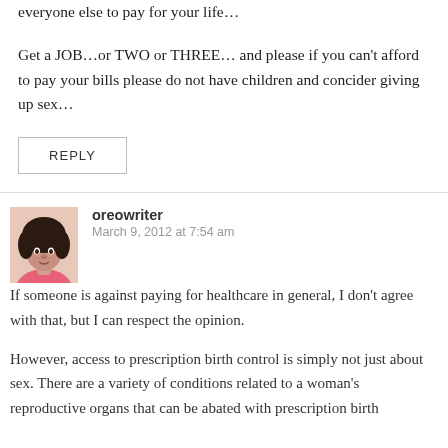Bottom line is pay your own way and stop trying to force everyone else to pay for your life…
Get a JOB…or TWO or THREE… and please if you can't afford to pay your bills please do not have children and concider giving up sex…
REPLY
oreowriter
March 9, 2012 at 7:54 am
If someone is against paying for healthcare in general, I don't agree with that, but I can respect the opinion.
However, access to prescription birth control is simply not just about sex. There are a variety of conditions related to a woman's reproductive organs that can be abated with prescription birth